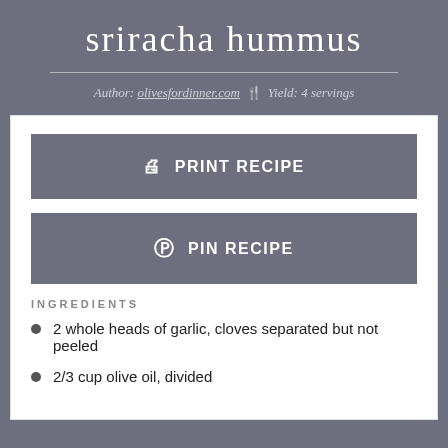sriracha hummus
Author: olivesfordinner.com   Yield: 4 servings
PRINT RECIPE
PIN RECIPE
INGREDIENTS
2 whole heads of garlic, cloves separated but not peeled
2/3 cup olive oil, divided